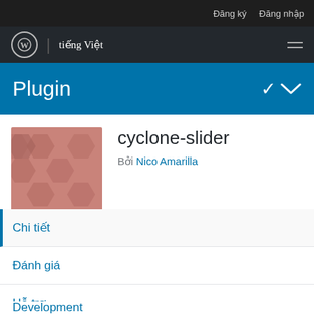Đăng ký  Đăng nhập
tiếng Việt
Plugin
cyclone-slider
Bởi Nico Amarilla
Chi tiết
Đánh giá
Hỗ trợ
Development